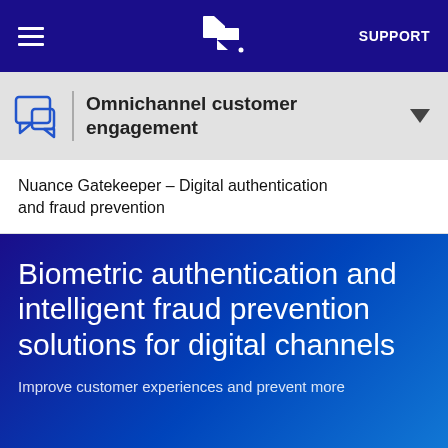SUPPORT
Omnichannel customer engagement
Nuance Gatekeeper – Digital authentication and fraud prevention
Biometric authentication and intelligent fraud prevention solutions for digital channels
Improve customer experiences and prevent more